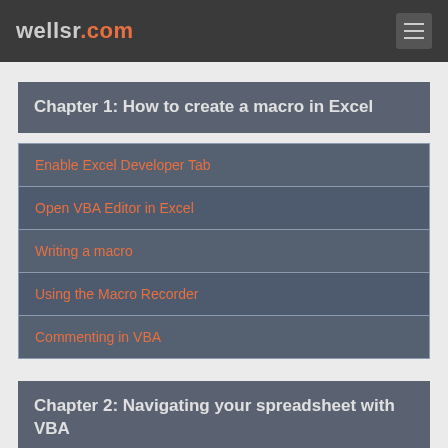wellsr.com
Chapter 1: How to create a macro in Excel
Enable Excel Developer Tab
Open VBA Editor in Excel
Writing a macro
Using the Macro Recorder
Commenting in VBA
Chapter 2: Navigating your spreadsheet with VBA